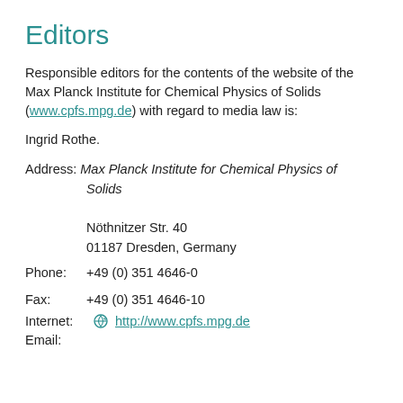Editors
Responsible editors for the contents of the website of the Max Planck Institute for Chemical Physics of Solids (www.cpfs.mpg.de) with regard to media law is:
Ingrid Rothe.
Address: Max Planck Institute for Chemical Physics of Solids
Nöthnitzer Str. 40
01187 Dresden, Germany
Phone: +49 (0) 351 4646-0
Fax: +49 (0) 351 4646-10
Internet: http://www.cpfs.mpg.de
Email: